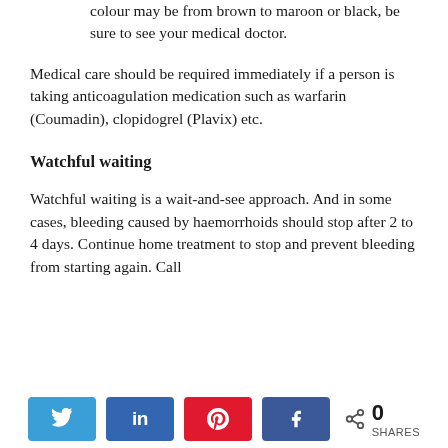colour may be from brown to maroon or black, be sure to see your medical doctor.
Medical care should be required immediately if a person is taking anticoagulation medication such as warfarin (Coumadin), clopidogrel (Plavix) etc.
Watchful waiting
Watchful waiting is a wait-and-see approach. And in some cases, bleeding caused by haemorrhoids should stop after 2 to 4 days. Continue home treatment to stop and prevent bleeding from starting again. Call
[Figure (infographic): Social sharing bar with Twitter, LinkedIn, Pinterest, and Facebook buttons, plus a share count showing 0 SHARES]